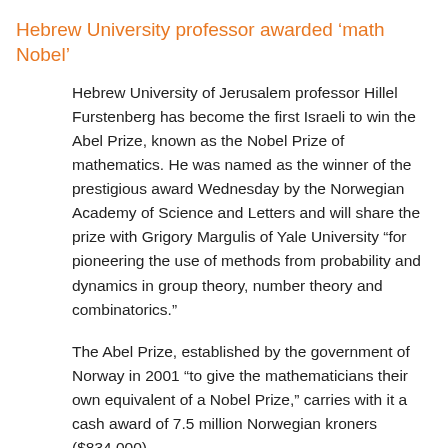Hebrew University professor awarded ‘math Nobel’
Hebrew University of Jerusalem professor Hillel Furstenberg has become the first Israeli to win the Abel Prize, known as the Nobel Prize of mathematics. He was named as the winner of the prestigious award Wednesday by the Norwegian Academy of Science and Letters and will share the prize with Grigory Margulis of Yale University “for pioneering the use of methods from probability and dynamics in group theory, number theory and combinatorics.”
The Abel Prize, established by the government of Norway in 2001 “to give the mathematicians their own equivalent of a Nobel Prize,” carries with it a cash award of 7.5 million Norwegian kroners ($834,000).
Furstenberg and Margulis invented random walk techniques, a central branch of probability theory. A random walk is a mathematical function of...